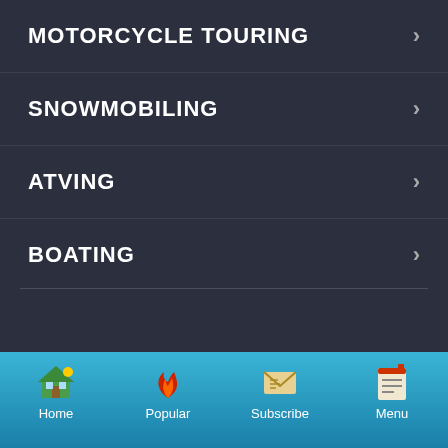MOTORCYCLE TOURING
SNOWMOBILING
ATVING
BOATING
[Figure (logo): Ontario Canada logo with maple leaf replacing the 'A' in Ontario, serif font for Ontario and sans-serif for Canada]
[Figure (illustration): Red maple leaf with tree/camping icon inside, partially visible at bottom of main area]
Home | Popular | Subscribe | Menu